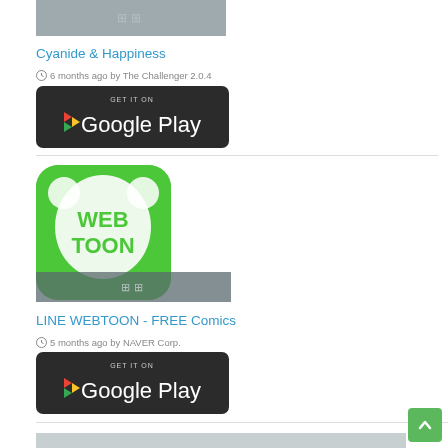[Figure (screenshot): App thumbnail placeholder gray bar for Cyanide & Happiness]
Cyanide & Happiness
6 months ago by The Challenger 2.0.4
[Figure (screenshot): Get it on Google Play button for Cyanide & Happiness]
[Figure (screenshot): WEBTOON app icon - green rounded square with WEBTOON text]
LINE WEBTOON - FREE Comics
5 months ago by NAVER Corp.
[Figure (screenshot): Get it on Google Play button for LINE WEBTOON]